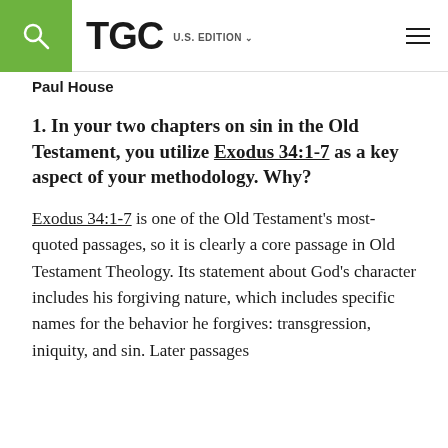TGC U.S. EDITION
Paul House
1. In your two chapters on sin in the Old Testament, you utilize Exodus 34:1-7 as a key aspect of your methodology. Why?
Exodus 34:1-7 is one of the Old Testament's most-quoted passages, so it is clearly a core passage in Old Testament Theology. Its statement about God's character includes his forgiving nature, which includes specific names for the behavior he forgives: transgression, iniquity, and sin. Later passages